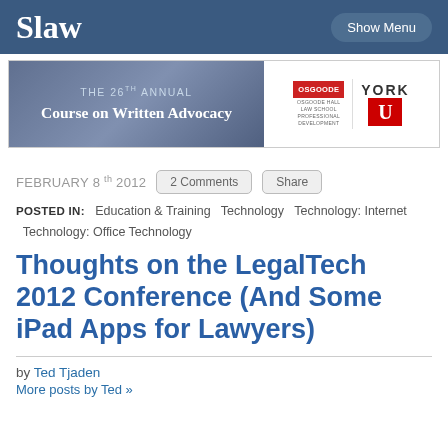Slaw | Show Menu
[Figure (other): Banner advertisement: THE 26TH ANNUAL Course on Written Advocacy, with Osgoode Hall Law School Professional Development and York University logos]
FEBRUARY 8th 2012   2 Comments   Share
POSTED IN: Education & Training  Technology  Technology: Internet  Technology: Office Technology
Thoughts on the LegalTech 2012 Conference (And Some iPad Apps for Lawyers)
by Ted Tjaden
More posts by Ted »